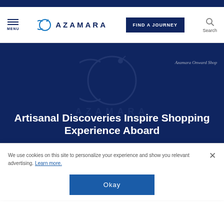[Figure (screenshot): Azamara website navigation bar with hamburger menu, Azamara logo, FIND A JOURNEY button, and Search icon]
[Figure (screenshot): Dark navy hero banner with faint Azamara crescent logo watermark and 'Azamara Onward Shop' label]
Artisanal Discoveries Inspire Shopping Experience Aboard
We use cookies on this site to personalize your experience and show you relevant advertising. Learn more.
Okay